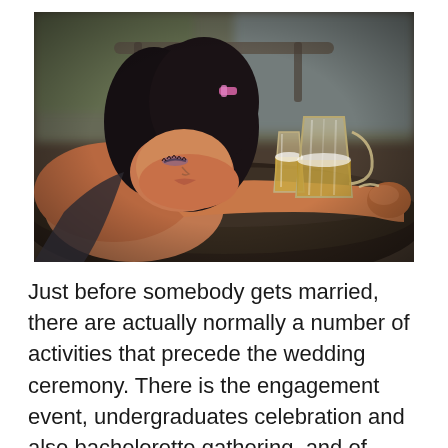[Figure (photo): A young woman with dark hair resting her head on a table at what appears to be an outdoor bar or restaurant, with her arm extended holding or near glass mugs of beer. She appears to be asleep or very tired, wearing a hair clip. Background shows blurred outdoor seating area.]
Just before somebody gets married, there are actually normally a number of activities that precede the wedding ceremony. There is the engagement event, undergraduates celebration and also bachelorette gathering, and of program the wedding ceremony itself.